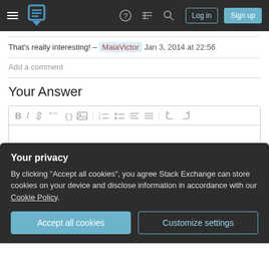Stack Exchange navigation bar with Log in and Sign up buttons
That's really interesting! – MaiaVictor  Jan 3, 2014 at 22:56
Add a comment
Your Answer
[Figure (screenshot): Rich text editor toolbar with bold, italic, link, blockquote, code, image, ordered list, unordered list, alignment, and undo/redo buttons]
Your privacy
By clicking "Accept all cookies", you agree Stack Exchange can store cookies on your device and disclose information in accordance with our Cookie Policy.
Accept all cookies
Customize settings